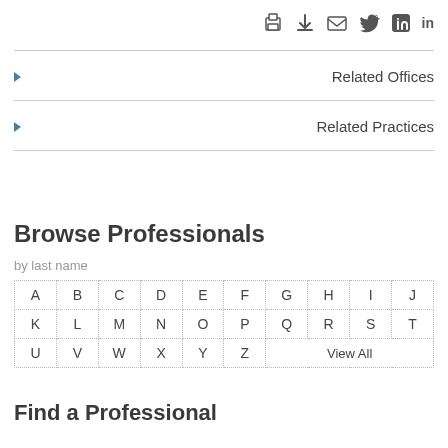[Figure (other): Toolbar icons: print, download, email, Twitter, LinkedIn]
Related Offices
Related Practices
Browse Professionals
by last name
| A | B | C | D | E | F | G | H | I | J |
| K | L | M | N | O | P | Q | R | S | T |
| U | V | W | X | Y | Z | View All |  |  |  |
Find a Professional